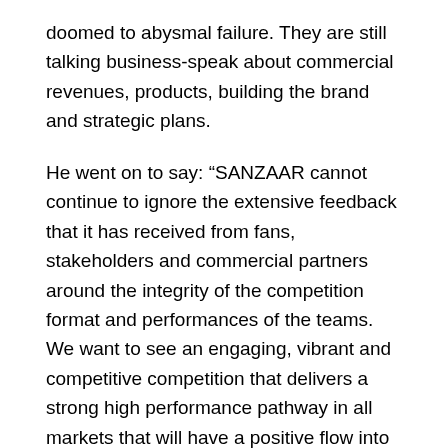doomed to abysmal failure. They are still talking business-speak about commercial revenues, products, building the brand and strategic plans.
He went on to say: “SANZAAR cannot continue to ignore the extensive feedback that it has received from fans, stakeholders and commercial partners around the integrity of the competition format and performances of the teams. We want to see an engaging, vibrant and competitive competition that delivers a strong high performance pathway in all markets that will have a positive flow into the international game.”
There is no doubt that the dropping of three teams has not met with universal approval in the various member countries. Although there have been some disconsolate mutterings in South Africa, especially with regard to the future of the